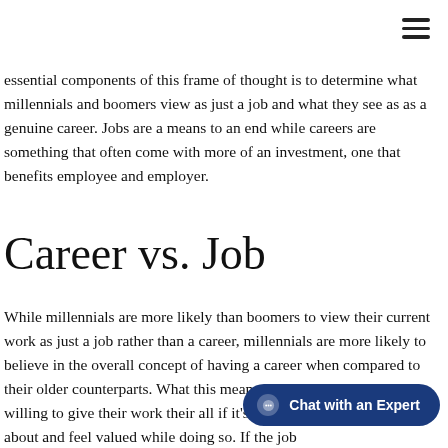≡
essential components of this frame of thought is to determine what millennials and boomers view as just a job and what they see as as a genuine career. Jobs are a means to an end while careers are something that often come with more of an investment, one that benefits employee and employer.
Career vs. Job
While millennials are more likely than boomers to view their current work as just a job rather than a career, millennials are more likely to believe in the overall concept of having a career when compared to their older counterparts. What this means is that millennials are willing to give their work their all if it's something they're passionate about and feel valued while doing so. If the job